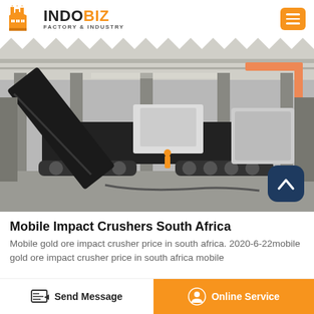INDOBIZ FACTORY & INDUSTRY
[Figure (photo): Mobile impact crusher machine on tracks inside a large factory/warehouse facility, industrial setting with steel structures and cranes visible]
Mobile Impact Crushers South Africa
Mobile gold ore impact crusher price in south africa. 2020-6-22mobile gold ore impact crusher price in south africa mobile
Send Message | Online Service